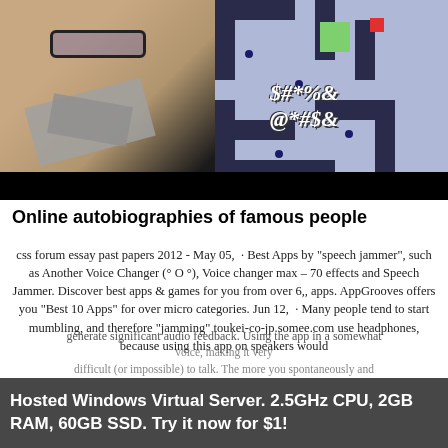[Figure (photo): Composite image: left side shows a man with glasses and duct tape over his mouth, right side shows a mobile game screenshot with maze-like layout and curse word symbols ($#*%& @*#$&), with a black bar at the bottom.]
Online autobiographies of famous people
css forum essay past papers 2012 - May 05,  · Best Apps by "speech jammer", such as Another Voice Changer (° O °), Voice changer max – 70 effects and Speech Jammer. Discover best apps & games for you from over 6,, apps. AppGrooves offers you "Best 10 Apps" for over micro categories. Jun 12,  · Many people tend to start mumbling, and therefore "jamming" toukei-co-jp.somee.com use headphones, because using this app on speakers would generate significant audio feedback. Using the app in a somewhat
difficult (or impossible) to talk. The more you spontaneously and
Hosted Windows Virtual Server. 2.5GHz CPU, 2GB RAM, 60GB SSD. Try it now for $1!
voice, making it very difficult (or impossible) to talk. The more you spontaneously and